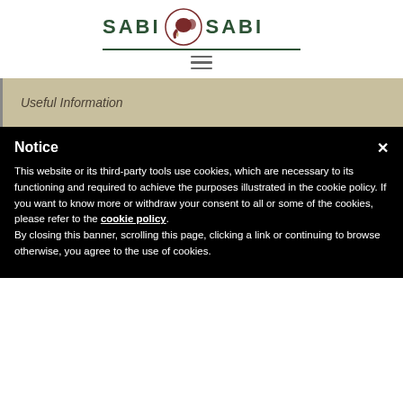[Figure (logo): Sabi Sabi logo with elephant head emblem in circle, text SABI SABI in dark green capital letters with decorative line underneath]
[Figure (other): Hamburger menu icon (three horizontal bars)]
Useful Information
Notice
This website or its third-party tools use cookies, which are necessary to its functioning and required to achieve the purposes illustrated in the cookie policy. If you want to know more or withdraw your consent to all or some of the cookies, please refer to the cookie policy. By closing this banner, scrolling this page, clicking a link or continuing to browse otherwise, you agree to the use of cookies.